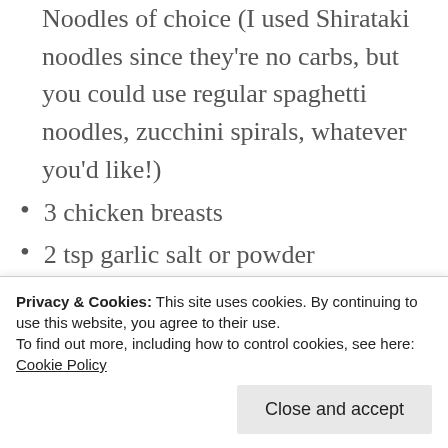Noodles of choice (I used Shirataki noodles since they're no carbs, but you could use regular spaghetti noodles, zucchini spirals, whatever you'd like!)
3 chicken breasts
2 tsp garlic salt or powder
2 tsp onion salt or powder
Avocado oil or coconut oil
3 carrots, finely chopped (use a cheese grater)
1 medium yellow onion, finely chopped
2 tsp garlic, minced
3 eggs
Privacy & Cookies: This site uses cookies. By continuing to use this website, you agree to their use. To find out more, including how to control cookies, see here: Cookie Policy